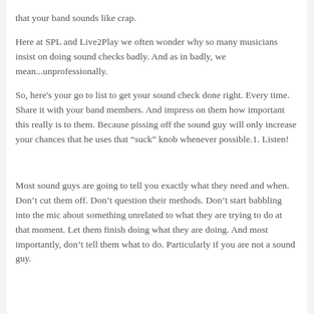that your band sounds like crap. Here at SPL and Live2Play we often wonder why so many musicians insist on doing sound checks badly. And as in badly, we mean...unprofessionally. So, here's your go to list to get your sound check done right. Every time. Share it with your band members. And impress on them how important this really is to them. Because pissing off the sound guy will only increase your chances that he uses that “suck” knob whenever possible.1. Listen!
Most sound guys are going to tell you exactly what they need and when. Don’t cut them off. Don’t question their methods. Don’t start babbling into the mic about something unrelated to what they are trying to do at that moment. Let them finish doing what they are doing. And most importantly, don’t tell them what to do. Particularly if you are not a sound guy.